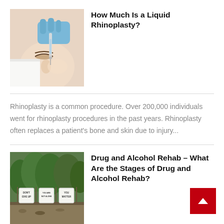[Figure (photo): Medical professional in blue gloves administering an injection to a woman's nose during a liquid rhinoplasty procedure. Close-up face shot.]
How Much Is a Liquid Rhinoplasty?
Rhinoplasty is a common procedure. Over 200,000 individuals went for rhinoplasty procedures in the past years. Rhinoplasty often replaces a patient's bone and skin due to injury...
[Figure (photo): Outdoor scene with three small signs in front of trees reading 'DON'T GIVE UP', 'YOU MATTER', and similar motivational messages related to drug and alcohol rehab.]
Drug and Alcohol Rehab – What Are the Stages of Drug and Alcohol Rehab?
When should a person consider going to a drug or alcohol program? First, it's important to recognize four main stages addiction recovery: treatment...